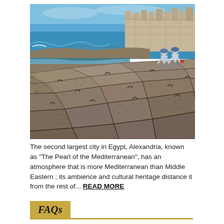[Figure (photo): Coastal scene in Alexandria, Egypt showing large ancient stone blocks by the sea with two people crouching in the distance, turquoise Mediterranean water and waves, and a historic stone fortress or castle wall in the background under a blue sky.]
The second largest city in Egypt, Alexandria, known as "The Pearl of the Mediterranean", has an atmosphere that is more Mediterranean than Middle Eastern ; its ambience and cultural heritage distance it from the rest of... READ MORE
FAQs